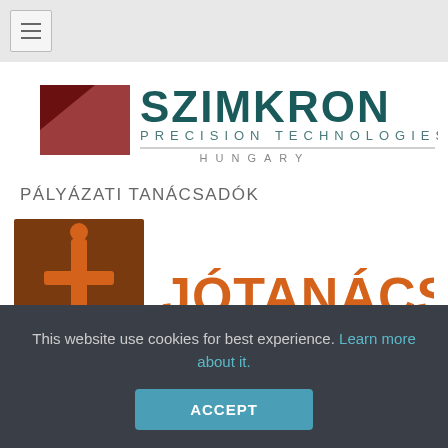[Figure (logo): Hamburger menu button (three horizontal lines) in a square border, top left navigation bar]
[Figure (logo): SZIMKRON Precision Technologies Hungary logo — partial view, dark red triangle shape on left, teal/dark green text on right, horizontal rule with HUNGARY text below]
PÁLYÁZATI TANÁCSADÓK
[Figure (logo): Jótanácsadó Kft. logo — brown square with stylized letter i/t in orange on left, bold orange text 'JÓTANÁCSADÓ KFT.' on right]
This website use cookies for best experience. Learn more about it.
ACCEPT